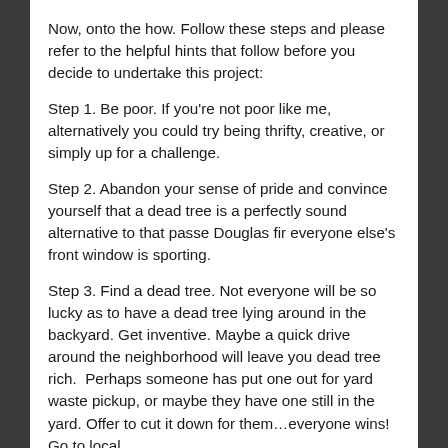Now, onto the how.  Follow these steps and please refer to the helpful hints that follow before you decide to undertake this project:
Step 1.  Be poor.  If you're not poor like me, alternatively you could try being thrifty, creative, or simply up for a challenge.
Step 2.  Abandon your sense of pride and convince yourself that a dead tree is a perfectly sound alternative to that passe Douglas fir everyone else's front window is sporting.
Step 3.  Find a dead tree.  Not everyone will be so lucky as to have a dead tree lying around in the backyard.  Get inventive.  Maybe a quick drive around the neighborhood will leave you dead tree rich.  Perhaps someone has put one out for yard waste pickup, or maybe they have one still in the yard.  Offer to cut it down for them…everyone wins!  Go to local